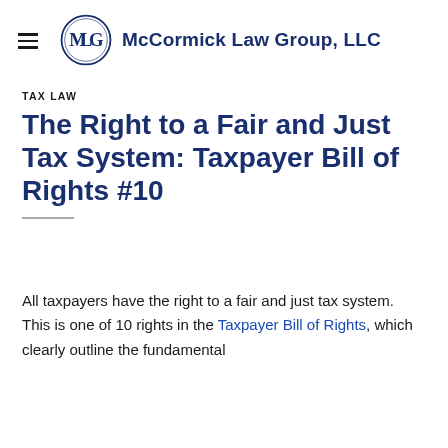McCormick Law Group, LLC
TAX LAW
The Right to a Fair and Just Tax System: Taxpayer Bill of Rights #10
All taxpayers have the right to a fair and just tax system. This is one of 10 rights in the Taxpayer Bill of Rights, which clearly outline the fundamental